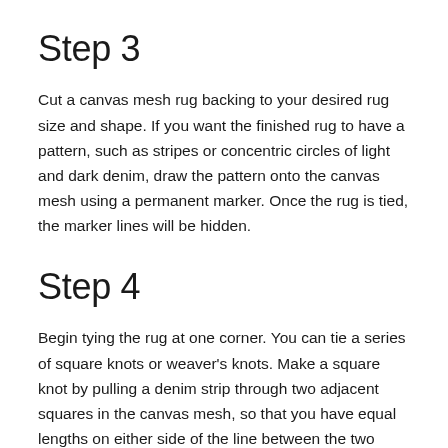Step 3
Cut a canvas mesh rug backing to your desired rug size and shape. If you want the finished rug to have a pattern, such as stripes or concentric circles of light and dark denim, draw the pattern onto the canvas mesh using a permanent marker. Once the rug is tied, the marker lines will be hidden.
Step 4
Begin tying the rug at one corner. You can tie a series of square knots or weaver's knots. Make a square knot by pulling a denim strip through two adjacent squares in the canvas mesh, so that you have equal lengths on either side of the line between the two squares. Cross the right strand over the left and loop it under, and then cross the left strand over the right and loop it under. Pull the square knot tight. Alternatively, make a weaver's knot by folding the denim strip in half and feeding the folded end down and up